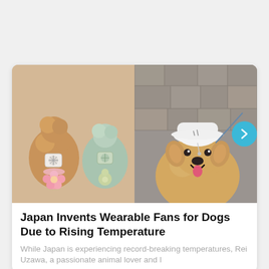[Figure (photo): Two photos side-by-side of dogs wearing wearable cooling fans. Left photo shows two dogs from behind with small fan devices attached to their backs, wearing decorative outfits with flowers. Right photo shows a fluffy golden/brown dog wearing a white cap and looking at camera, smiling, on a paved surface.]
Japan Invents Wearable Fans for Dogs Due to Rising Temperature
While Japan is experiencing record-breaking temperatures, Rei Uzawa, a passionate animal lover and l